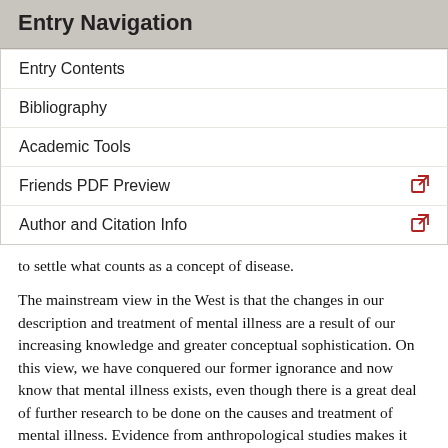Entry Navigation
Entry Contents
Bibliography
Academic Tools
Friends PDF Preview
Author and Citation Info
to settle what counts as a concept of disease.
The mainstream view in the West is that the changes in our description and treatment of mental illness are a result of our increasing knowledge and greater conceptual sophistication. On this view, we have conquered our former ignorance and now know that mental illness exists, even though there is a great deal of further research to be done on the causes and treatment of mental illness. Evidence from anthropological studies makes it clear that some mental illnesses are expressed differently in different cultures, and it is also clear that some Western